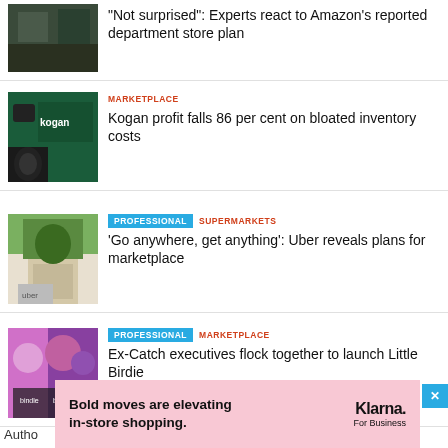[Figure (photo): Exterior storefront photo, partially cropped at top]
"Not surprised": Experts react to Amazon's reported department store plan
[Figure (photo): Kogan branded display with electronics and cameras]
MARKETPLACE
Kogan profit falls 86 per cent on bloated inventory costs
[Figure (photo): Uber delivery bag with grocery items outside a store]
PROFESSIONAL  SUPERMARKETS
'Go anywhere, get anything': Uber reveals plans for marketplace
[Figure (photo): Three people in black Birdie t-shirts posing together]
PROFESSIONAL  MARKETPLACE
Ex-Catch executives flock together to launch Little Birdie
Autho
[Figure (other): Klarna For Business advertisement banner: Bold moves are elevating in-store shopping.]